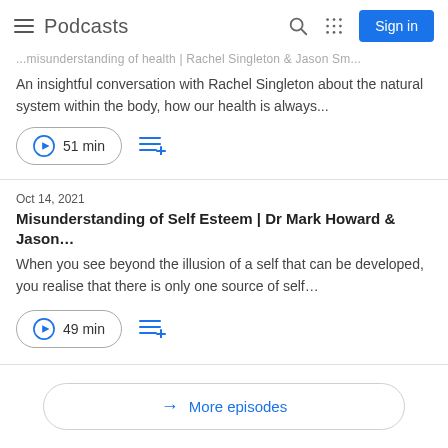Podcasts
...misunderstanding of health | Rachel Singleton & Jason Sm...
An insightful conversation with Rachel Singleton about the natural system within the body, how our health is always...
51 min
Oct 14, 2021
Misunderstanding of Self Esteem | Dr Mark Howard & Jason...
When you see beyond the illusion of a self that can be developed, you realise that there is only one source of self...
49 min
More episodes